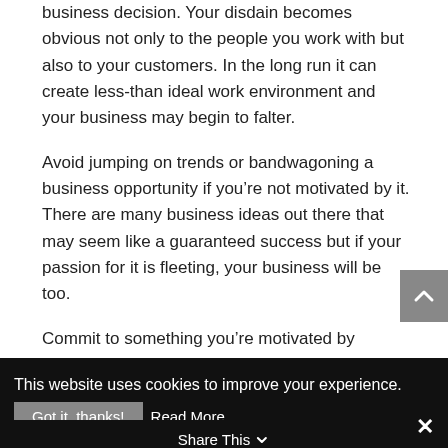business decision. Your disdain becomes obvious not only to the people you work with but also to your customers. In the long run it can create less-than ideal work environment and your business may begin to falter.
Avoid jumping on trends or bandwagoning a business opportunity if you're not motivated by it. There are many business ideas out there that may seem like a guaranteed success but if your passion for it is fleeting, your business will be too.
Commit to something you're motivated by something you believe in. That's the first thing that should be on your mind when pondering a business
This website uses cookies to improve your experience.
Got it, thanks!
Read More
Share This